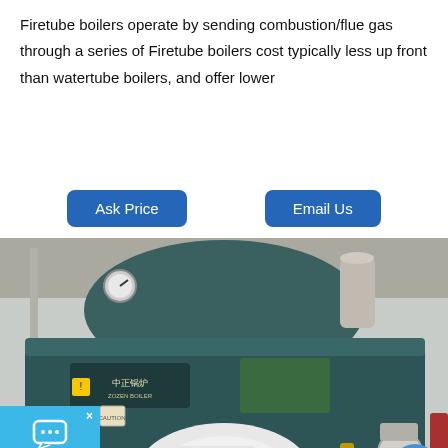Firetube boilers operate by sending combustion/flue gas through a series of Firetube boilers cost typically less up front than watertube boilers, and offer lower
[Figure (other): Two blue buttons: 'Ask Price' and 'Email Us' on a white background]
[Figure (photo): Industrial firetube/watertube boiler (dark teal/green colored, branded 'ZOZEN BOILER' in Chinese and English) installed in a factory setting with pipes and gauges visible. A live chat widget with chat icon and 'Chat online' text overlays the lower-left corner.]
Water Tube Boilers in Pune, , - IndiaMART
Find here Water Tube Boilers, Water Tube Steam Boiler suppliers...